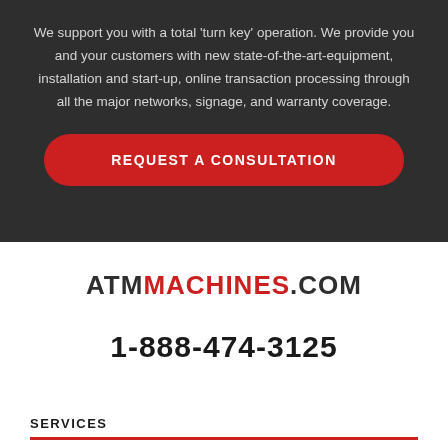We support you with a total 'turn key' operation. We provide you and your customers with new state-of-the-art-equipment, installation and start-up, online transaction processing through all the major networks, signage, and warranty coverage.
REQUEST A CONSULTATION
[Figure (logo): ATMMACHINES.COM logo with ATM in dark gray, MACHINES in red, .COM in dark gray]
1-888-474-3125
SERVICES